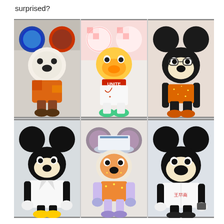surprised?
[Figure (photo): A 3x2 grid of six photographs showing various Mickey Mouse collectible figurines/dolls with different artistic designs and costumes. Top row: (1) a colorful patchwork-style Mickey in orange outfit, (2) a white Mickey with handwritten art/text labeled 'Unite', (3) a classic Mickey in glasses with orange sparkly shorts. Bottom row: (4) a Mickey in white doctor's coat with yellow shoes, (5) a textured sparkly Mickey wearing a hat with accessories, (6) a Mickey in white doctor's coat with Chinese writing.]